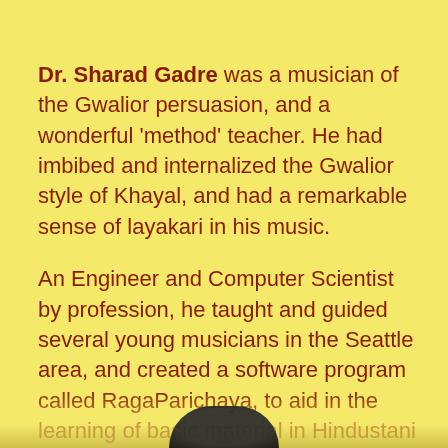Dr. Sharad Gadre was a musician of the Gwalior persuasion, and a wonderful 'method' teacher. He had imbibed and internalized the Gwalior style of Khayal, and had a remarkable sense of layakari in his music.

An Engineer and Computer Scientist by profession, he taught and guided several young musicians in the Seattle area, and created a software program called RagaParichaya, to aid in the learning of basic material in Hindustani Music. His collection of Abhangs, in ragas representing the eight prahars of the day, and tracing the various sta... ...ntiments of